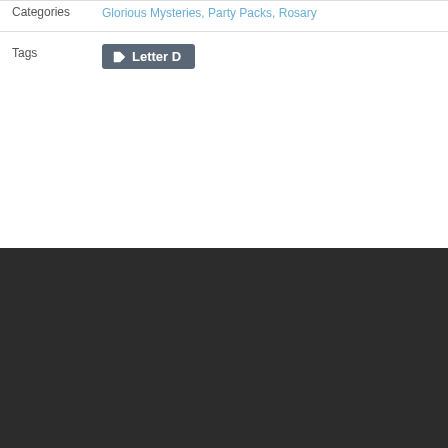Categories: Glorious Mysteries, Party Packs, Rosary
Tags: Letter D